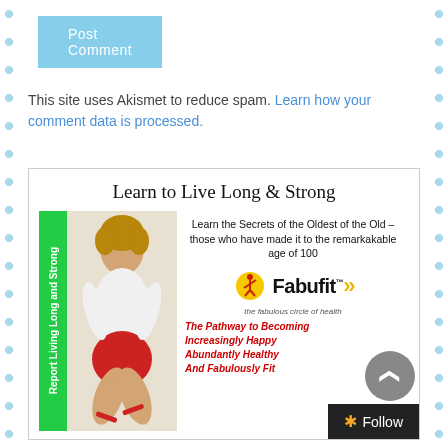Post Comment
This site uses Akismet to reduce spam. Learn how your comment data is processed.
[Figure (illustration): Advertisement box for Fabufit featuring 'Learn to Live Long & Strong' title, an image of a woman in exercise wear, and text about the 'Pathway to Becoming Increasingly Happy Abundantly Healthy And Fabulously Fit']